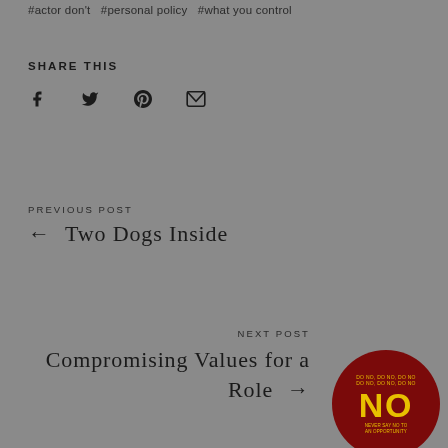#actor don't  #personal policy  #what you control
SHARE THIS
[Figure (infographic): Social share icons: Facebook, Twitter, Pinterest, Email]
PREVIOUS POST
← Two Dogs Inside
NEXT POST
Compromising Values for a Role →
[Figure (illustration): Dark red circular badge with yellow 'NO' text in bold, smaller text above and below]